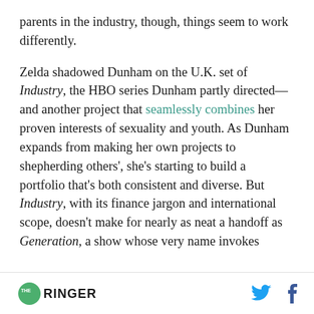parents in the industry, though, things seem to work differently.
Zelda shadowed Dunham on the U.K. set of Industry, the HBO series Dunham partly directed—and another project that seamlessly combines her proven interests of sexuality and youth. As Dunham expands from making her own projects to shepherding others', she's starting to build a portfolio that's both consistent and diverse. But Industry, with its finance jargon and international scope, doesn't make for nearly as neat a handoff as Generation, a show whose very name invokes
THE RINGER [logo] | Twitter | Facebook